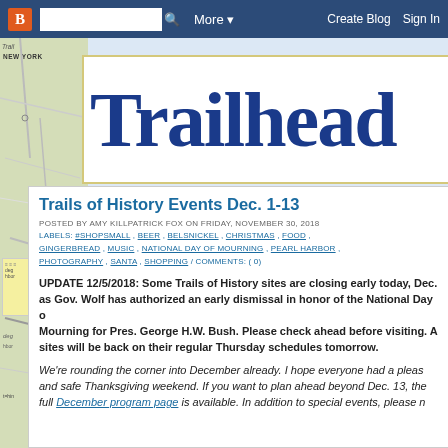Blogger navigation bar with B logo, search box, More, Create Blog, Sign In
[Figure (screenshot): Blogger navbar with orange B logo, search input, More dropdown, Create Blog and Sign In links on dark blue background]
[Figure (illustration): Trailhead blog header banner with large blue serif title text 'Trailhead' on white background with yellow border, and a map background on the left]
Trails of History Events Dec. 1-13
POSTED BY AMY KILLPATRICK FOX ON FRIDAY, NOVEMBER 30, 2018
LABELS: #SHOPSMALL, BEER, BELSNICKEL, CHRISTMAS, FOOD, GINGERBREAD, MUSIC, NATIONAL DAY OF MOURNING, PEARL HARBOR, PHOTOGRAPHY, SANTA, SHOPPING / COMMENTS: ( 0)
UPDATE 12/5/2018: Some Trails of History sites are closing early today, Dec. as Gov. Wolf has authorized an early dismissal in honor of the National Day of Mourning for Pres. George H.W. Bush. Please check ahead before visiting. All sites will be back on their regular Thursday schedules tomorrow.
We're rounding the corner into December already. I hope everyone had a pleasant and safe Thanksgiving weekend. If you want to plan ahead beyond Dec. 13, the full December program page is available. In addition to special events, please n